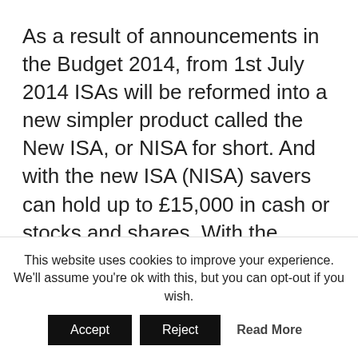As a result of announcements in the Budget 2014, from 1st July 2014 ISAs will be reformed into a new simpler product called the New ISA, or NISA for short. And with the new ISA (NISA) savers can hold up to £15,000 in cash or stocks and shares. With the...
1
This website uses cookies to improve your experience. We'll assume you're ok with this, but you can opt-out if you wish.
Accept
Reject
Read More